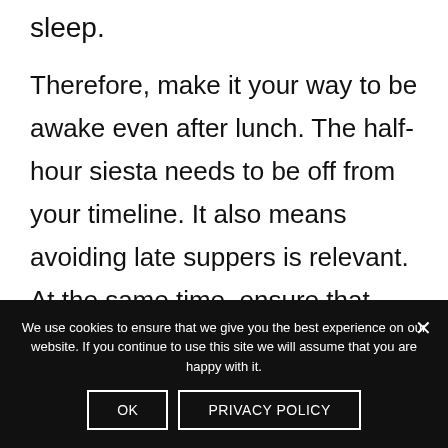sleep.
Therefore, make it your way to be awake even after lunch. The half-hour siesta needs to be off from your timeline. It also means avoiding late suppers is relevant. At the same time, ensure that there is no midnight snacking.
We use cookies to ensure that we give you the best experience on our website. If you continue to use this site we will assume that you are happy with it.
OK
PRIVACY POLICY